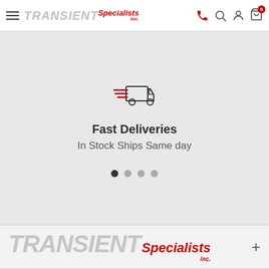TRANSIENT Specialists Inc. — navigation header with hamburger menu, phone, search, account, and cart icons
[Figure (illustration): Fast delivery truck icon with speed lines in dark outline style]
Fast Deliveries
In Stock Ships Same day
[Figure (other): Carousel dot navigation — 4 dots, first one filled/active]
[Figure (logo): Transient Specialists Inc. large logo in footer section with grey TRANSIENT text and red Specialists italic text]
RENTAL PRODUCT CATEGORIES